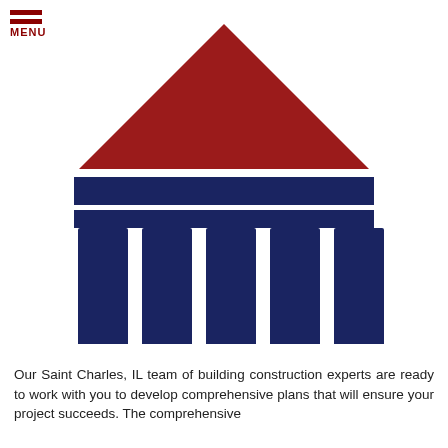[Figure (infographic): Hamburger menu icon with two dark red horizontal bars above the word MENU in dark red]
[Figure (infographic): Greek temple / building infographic with a dark red triangular pediment/roof, dark navy blue horizontal entablature bands, five dark navy blue columns labeled SCOPE, BUDGET, SCHEDULE, QUALITY, SAFETY in white rotated text, and a dark navy blue base/step platform]
Our Saint Charles, IL team of building construction experts are ready to work with you to develop comprehensive plans that will ensure your project succeeds. The comprehensive